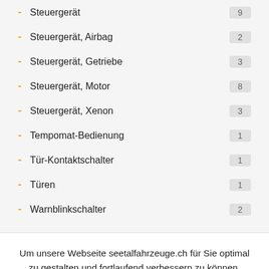- Steuergerät 9
- Steuergerät, Airbag 2
- Steuergerät, Getriebe 3
- Steuergerät, Motor 8
- Steuergerät, Xenon 3
- Tempomat-Bedienung 1
- Tür-Kontaktschalter 1
- Türen 1
- Warnblinkschalter 2
Um unsere Webseite seetalfahrzeuge.ch für Sie optimal zu gestalten und fortlaufend verbessern zu können, verwenden wir Cookies. Durch die weitere Nutzung der Webseite stimmen Sie der Verwendung von Cookies zu. Weitere Informationen zu Cookies erhalten Sie in unserer Datenschutzerklärung.